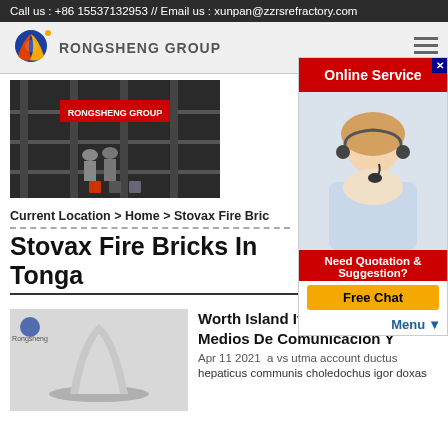Call us : +86 15537132953 // Email us : xunpan@zzrsrefractory.com
[Figure (logo): Rongsheng Group logo with flame/globe icon and text RONGSHENG GROUP]
[Figure (photo): Online Service chat agent - blonde woman with headset, red Online Service banner, Need Quotation & Suggestion? text, Free Chat button]
[Figure (photo): Rongsheng Group showroom/exhibition hall image with red RONGSHENG GROUP sign]
Current Location > Home > Stovax Fire Bric
Stovax Fire Bricks In Tonga
Worth Island It Bokoboko Ft Vip Medios De Comunicacion Y
Apr 11 2021  a vs utma account ductus
hepaticus communis choledochus igor doxas